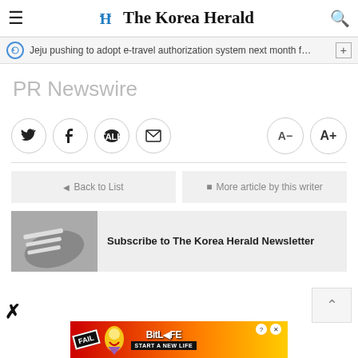The Korea Herald
Jeju pushing to adopt e-travel authorization system next month f…
PR Newswire
Social share buttons: Twitter, Facebook, KakaoTalk, Email; Font size: A-, A+
◄ Back to List   ☰ More article by this writer
Subscribe to The Korea Herald Newsletter